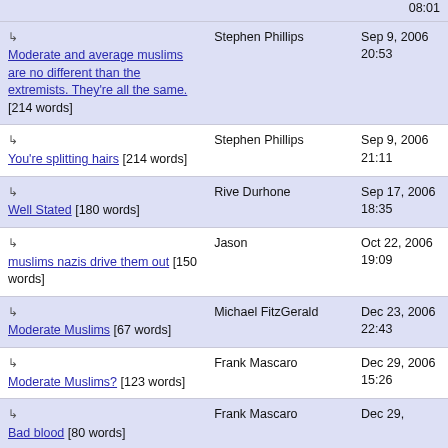| Title | Author | Date |
| --- | --- | --- |
| ↳ Moderate and average muslims are no different than the extremists. They're all the same. [214 words] | Stephen Phillips | Sep 9, 2006 20:53 |
| ↳ You're splitting hairs [214 words] | Stephen Phillips | Sep 9, 2006 21:11 |
| ↳ Well Stated [180 words] | Rive Durhone | Sep 17, 2006 18:35 |
| ↳ muslims nazis drive them out [150 words] | Jason | Oct 22, 2006 19:09 |
| ↳ Moderate Muslims [67 words] | Michael FitzGerald | Dec 23, 2006 22:43 |
| ↳ Moderate Muslims? [123 words] | Frank Mascaro | Dec 29, 2006 15:26 |
| ↳ Bad blood [80 words] | Frank Mascaro | Dec 29, |